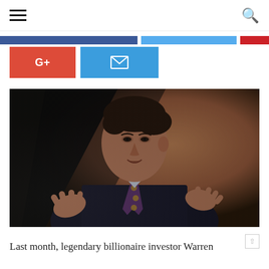Navigation bar with hamburger menu and search icon
[Figure (infographic): Social share bar with Facebook (dark blue), Twitter (light blue), and Pinterest (red) colored strips]
[Figure (infographic): G+ red button and email light-blue button for social sharing]
[Figure (photo): A man in a dark suit with a patterned tie gesturing with both hands while speaking, photographed against a dark and warm-toned background]
Last month, legendary billionaire investor Warren